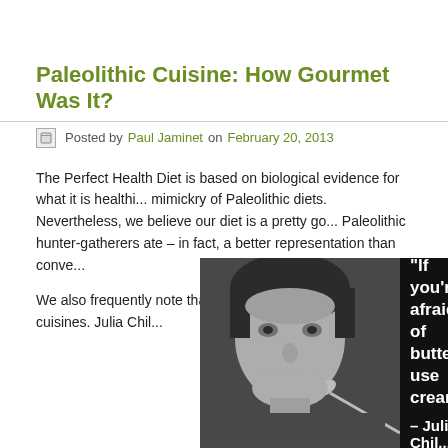Paleolithic Cuisine: How Gourmet Was It?
Posted by Paul Jaminet on February 20, 2013
The Perfect Health Diet is based on biological evidence for what it is healthi... mimickry of Paleolithic diets. Nevertheless, we believe our diet is a pretty go... Paleolithic hunter-gatherers ate – in fact, a better representation than conve...
We also frequently note that our diet resembles gourmet cuisines. Julia Chil...
[Figure (photo): Black and white photo of Julia Child eating from a spoon, with a quote overlay on dark background reading: "If you're afraid of butter, use cream." – Julia Child]